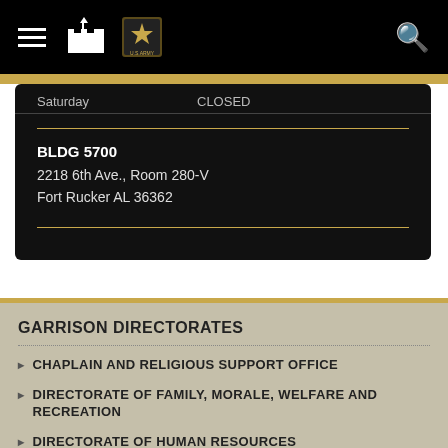Army navigation bar with hamburger menu, fort icon, Army star logo, and search icon
| Day | Status |
| --- | --- |
| Saturday | CLOSED |
BLDG 5700
2218 6th Ave., Room 280-V
Fort Rucker AL 36362
GARRISON DIRECTORATES
CHAPLAIN AND RELIGIOUS SUPPORT OFFICE
DIRECTORATE OF FAMILY, MORALE, WELFARE AND RECREATION
DIRECTORATE OF HUMAN RESOURCES
DIRECTORATE OF PLANS, TRAINING, MOBILIZATION & SECURITY